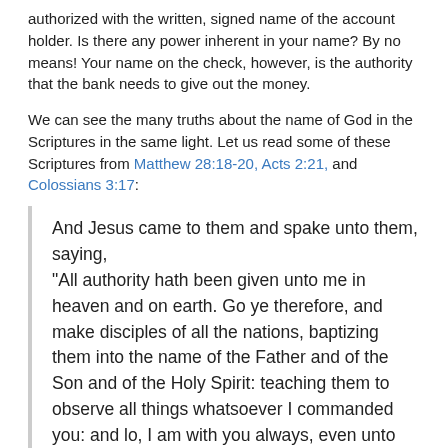authorized with the written, signed name of the account holder. Is there any power inherent in your name? By no means! Your name on the check, however, is the authority that the bank needs to give out the money.
We can see the many truths about the name of God in the Scriptures in the same light. Let us read some of these Scriptures from Matthew 28:18-20, Acts 2:21, and Colossians 3:17:
And Jesus came to them and spake unto them, saying, “All authority hath been given unto me in heaven and on earth. Go ye therefore, and make disciples of all the nations, baptizing them into the name of the Father and of the Son and of the Holy Spirit: teaching them to observe all things whatsoever I commanded you: and lo, I am with you always, even unto the end of the world.”